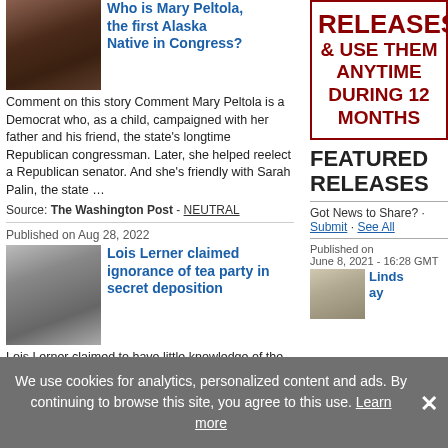Who is Mary Peltola, the first Alaska Native in Congress?
Comment on this story Comment Mary Peltola is a Democrat who, as a child, campaigned with her father and his friend, the state's longtime Republican congressman. Later, she helped reelect a Republican senator. And she's friendly with Sarah Palin, the state …
Source: The Washington Post - NEUTRAL
Published on Aug 28, 2022
Lois Lerner claimed ignorance of tea party in secret deposition
Lois Lerner claimed to have little knowledge of the tea party movement and what it stood for, even as she oversaw the IRS's intrusive scrutiny of tea party groups' applications for nonprofit status, according to newly released transcripts of a long-secret …
Source: The Washington Times - RIGHT-WING
RELEASES & USE THEM ANYTIME DURING 12 MONTHS
FEATURED RELEASES
Got News to Share? · Submit · See All
Published on June 8, 2021 - 16:28 GMT
Lindsay
We use cookies for analytics, personalized content and ads. By continuing to browse this site, you agree to this use. Learn more